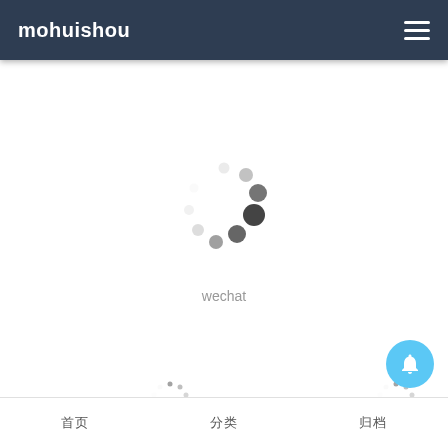mohuishou
[Figure (other): Large circular loading spinner with dots arranged in a circle, darker dots at top-right fading to lighter dots at bottom-left]
wechat
[Figure (other): Small circular loading spinner (left)]
[Figure (other): Small circular loading spinner (right)]
[Figure (other): Blue circular notification bell button in bottom-right]
首页  分类  归档